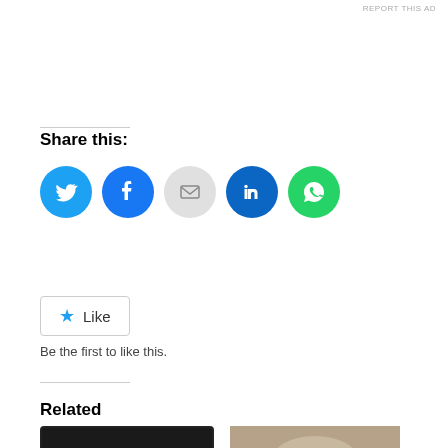REPORT THIS AD
Share this:
[Figure (infographic): Social share buttons: Twitter (blue), Facebook (dark blue), Email (gray), LinkedIn (dark blue), WhatsApp (green)]
[Figure (infographic): Like button with blue star icon and 'Like' text]
Be the first to like this.
Related
[Figure (photo): iPadGate article thumbnail showing iPad with two profile photos and text 'iPadGate']
iPadGate: Mack-Rose Says Reed Uses City-Bought iPad; But It's Not True
[Figure (photo): Photo of San Leandro Mayor Cassidy, a smiling middle-aged man in a suit]
San Leandro Mayor Cassidy Aids Challengers In Effort